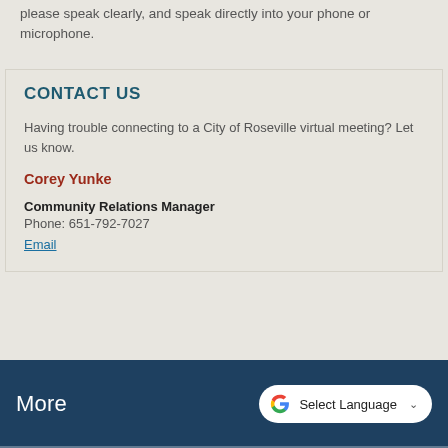please speak clearly, and speak directly into your phone or microphone.
CONTACT US
Having trouble connecting to a City of Roseville virtual meeting? Let us know.
Corey Yunke
Community Relations Manager
Phone: 651-792-7027
Email
More   Select Language